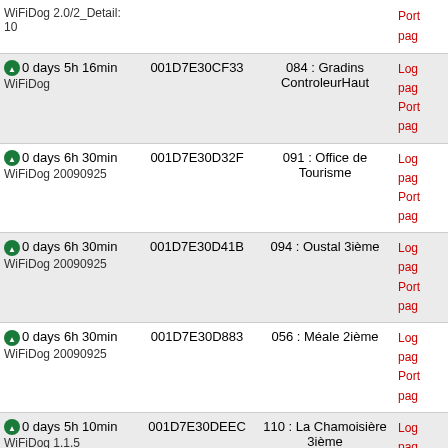| Status/Uptime | MAC | Location | Links |
| --- | --- | --- | --- |
| 0 days 5h 16min
WiFiDog | 001D7E30CF33 | 084 : Gradins ControleurHaut | Log
pag
Port
pag |
| 0 days 6h 30min
WiFiDog 20090925 | 001D7E30D32F | 091 : Office de Tourisme | Log
pag
Port
pag |
| 0 days 6h 30min
WiFiDog 20090925 | 001D7E30D41B | 094 : Oustal 3ième | Log
pag
Port
pag |
| 0 days 6h 30min
WiFiDog 20090925 | 001D7E30D883 | 056 : Méale 2ième | Log
pag
Port
pag |
| 0 days 5h 10min
WiFiDog 1.1.5 | 001D7E30DEEC | 110 : La Chamoisière 3ième | Log
pag
Port
pag |
| 0 days 6h 30min
WiFiDog 20090925 | 001D7E30DFCB | 054 : Orrianes des Blés vers Neiges | Log
pag
Port
pag |
| 0 days 6h 30min |  |  | Log |